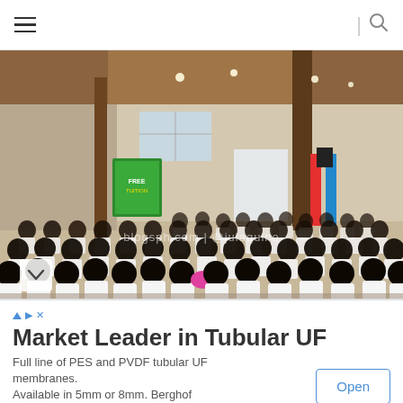Navigation bar with hamburger menu and search icon
[Figure (photo): Large indoor gathering of students in white uniforms/polo shirts seated in a hall. The venue has a high wooden ceiling with ceiling lights, white walls with windows, and decorative banners. A green banner is visible at the front. There is a watermark reading 'blogsph.com | @julaquino' overlaid on the image.]
Market Leader in Tubular UF
Full line of PES and PVDF tubular UF membranes. Available in 5mm or 8mm. Berghof Membranes